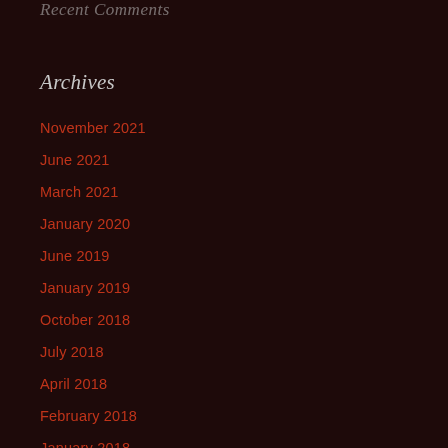Recent Comments
Archives
November 2021
June 2021
March 2021
January 2020
June 2019
January 2019
October 2018
July 2018
April 2018
February 2018
January 2018